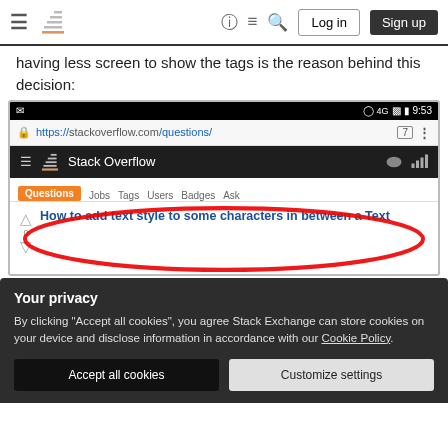[Figure (screenshot): Stack Overflow website navigation bar with hamburger menu, SO logo, help icon, chat icon, search icon, Log in button, and Sign up button]
having less screen to show the tags is the reason behind this decision:
[Figure (screenshot): Mobile screenshot of Stack Overflow on Android showing: status bar with time 9:53, URL bar with https://stackoverflow.com/questions/, Stack Overflow mobile nav bar, navigation tabs (Questions, Jobs, Tags, Users, Badges, Ask), and a question title 'How to add text style to some characters in between a Text' with a red circle drawn around the Questions tab and question title area]
Your privacy
By clicking "Accept all cookies", you agree Stack Exchange can store cookies on your device and disclose information in accordance with our Cookie Policy.
Accept all cookies
Customize settings